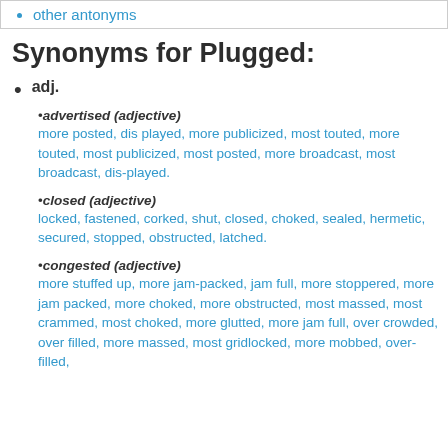other antonyms
Synonyms for Plugged:
adj.
•advertised (adjective)
more posted, dis played, more publicized, most touted, more touted, most publicized, most posted, more broadcast, most broadcast, dis-played.
•closed (adjective)
locked, fastened, corked, shut, closed, choked, sealed, hermetic, secured, stopped, obstructed, latched.
•congested (adjective)
more stuffed up, more jam-packed, jam full, more stoppered, more jam packed, more choked, more obstructed, most massed, most crammed, most choked, more glutted, more jam full, over crowded, over filled, more massed, most gridlocked, more mobbed, over-filled,